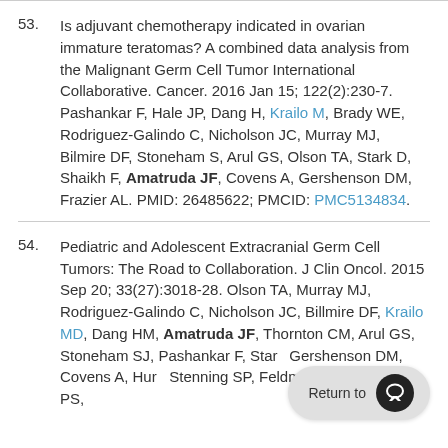53. Is adjuvant chemotherapy indicated in ovarian immature teratomas? A combined data analysis from the Malignant Germ Cell Tumor International Collaborative. Cancer. 2016 Jan 15; 122(2):230-7. Pashankar F, Hale JP, Dang H, Krailo M, Brady WE, Rodriguez-Galindo C, Nicholson JC, Murray MJ, Bilmire DF, Stoneham S, Arul GS, Olson TA, Stark D, Shaikh F, Amatruda JF, Covens A, Gershenson DM, Frazier AL. PMID: 26485622; PMCID: PMC5134834.
54. Pediatric and Adolescent Extracranial Germ Cell Tumors: The Road to Collaboration. J Clin Oncol. 2015 Sep 20; 33(27):3018-28. Olson TA, Murray MJ, Rodriguez-Galindo C, Nicholson JC, Billmire DF, Krailo MD, Dang HM, Amatruda JF, Thornton CM, Arul GS, Stoneham SJ, Pashankar F, Stark D, Gershenson DM, Covens A, Hurb... Stenning SP, Feldman DR, Grimison PS,